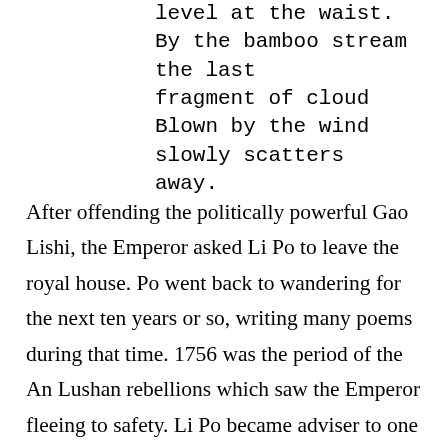level at the waist.
By the bamboo stream the last fragment of cloud
Blown by the wind slowly scatters away.
After offending the politically powerful Gao Lishi, the Emperor asked Li Po to leave the royal house. Po went back to wandering for the next ten years or so, writing many poems during that time. 1756 was the period of the An Lushan rebellions which saw the Emperor fleeing to safety. Li Po became adviser to one of the sons of Ming Huang in the